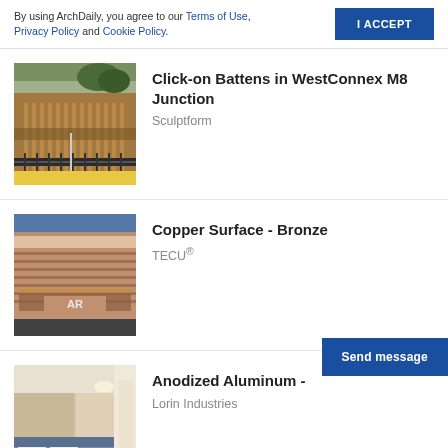By using ArchDaily, you agree to our Terms of Use, Privacy Policy and Cookie Policy.
I ACCEPT
[Figure (photo): Architectural photo showing curved wooden battens facade at WestConnex M8 Junction]
Click-on Battens in WestConnex M8 Junction
Sculptform
[Figure (photo): Photo of a modern building with copper/bronze cladding facade against blue sky, with TECU branding]
Copper Surface - Bronze
TECU®
[Figure (photo): Interior photo showing anodized aluminum surfaces with modern furnishings]
Anodized Aluminum - ...
Lorin Industries
Send message